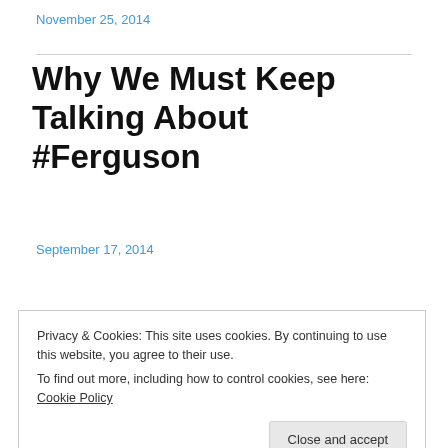November 25, 2014
Why We Must Keep Talking About #Ferguson
Why We Must Keep Talking About Ferguson
September 17, 2014
Privacy & Cookies: This site uses cookies. By continuing to use this website, you agree to their use.
To find out more, including how to control cookies, see here: Cookie Policy
Close and accept